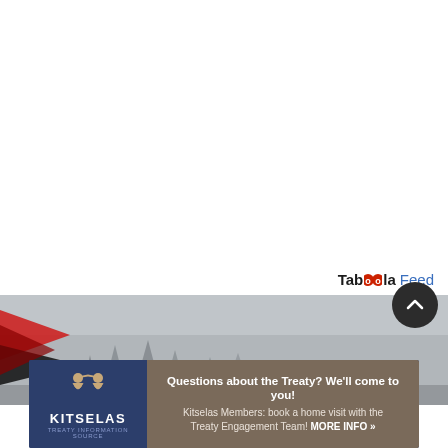Taboola Feed
[Figure (photo): Misty forest landscape with a red and black shape visible on the left side, foggy trees in the background]
[Figure (other): Dark circular scroll-to-top button with upward chevron arrow]
[Figure (other): Kitselas Treaty advertisement banner: dark blue logo section with Kitselas name and icon, brown text section reading 'Questions about the Treaty? We'll come to you! Kitselas Members: book a home visit with the Treaty Engagement Team! MORE INFO »']